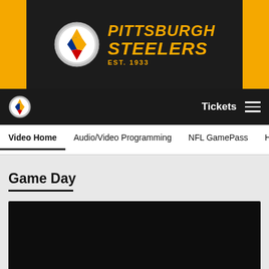[Figure (logo): Pittsburgh Steelers banner with team logo, team name 'PITTSBURGH STEELERS EST. 1933' on dark background with gold side stripes]
Tickets ☰
Video Home  Audio/Video Programming  NFL GamePass  Highlig
Game Day
[Figure (screenshot): Black video player placeholder area]